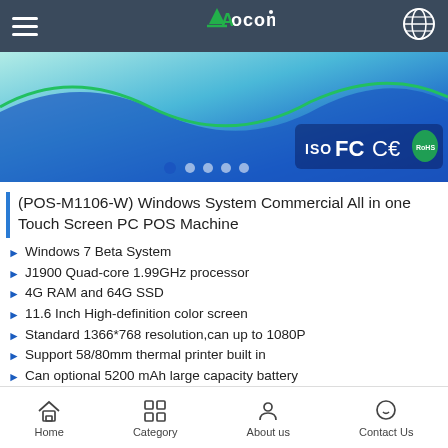Aocom - Navigation header with hamburger menu and globe icon
[Figure (illustration): Decorative banner with blue-green gradient waves and certification badges: ISO, FC, CE, RoHS. Five navigation dots at bottom.]
(POS-M1106-W) Windows System Commercial All in one Touch Screen PC POS Machine
Windows 7 Beta System
J1900 Quad-core 1.99GHz processor
4G RAM and 64G SSD
11.6 Inch High-definition color screen
Standard 1366*768 resolution,can up to 1080P
Support 58/80mm thermal printer built in
Can optional 5200 mAh large capacity battery
Can optional VFD LCD display, MSR RFID, 1/2D Barcode Scanner
Home | Category | About us | Contact Us